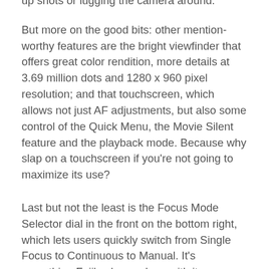up shots or lugging the camera around.
But more on the good bits: other mention-worthy features are the bright viewfinder that offers great color rendition, more details at 3.69 million dots and 1280 x 960 pixel resolution; and that touchscreen, which allows not just AF adjustments, but also some control of the Quick Menu, the Movie Silent feature and the playback mode. Because why slap on a touchscreen if you're not going to maximize its use?
Last but not the least is the Focus Mode Selector dial in the front on the bottom right, which lets users quickly switch from Single Focus to Continuous to Manual. It's something Fuji's always done with its mirrorless cameras and it's probably a mundane thing to Fuji shooters by now. But we thought to give it a nice quick mention since it's such a nifty little thing, and we love using it.
MENUS & DISPLAYS